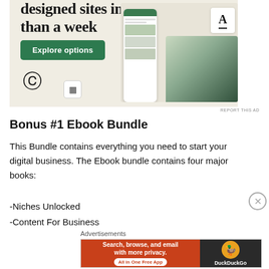[Figure (screenshot): WordPress/website builder advertisement banner with beige background showing text 'designed sites in less than a week', green 'Explore options' button, WordPress logo, and website mockup screenshots on the right side]
Bonus #1 Ebook Bundle
This Bundle contains everything you need to start your digital business. The Ebook bundle contains four major books:
-Niches Unlocked
-Content For Business
Advertisements
[Figure (screenshot): DuckDuckGo advertisement banner with orange left section reading 'Search, browse, and email with more privacy. All in One Free App' and dark right section with DuckDuckGo duck logo]